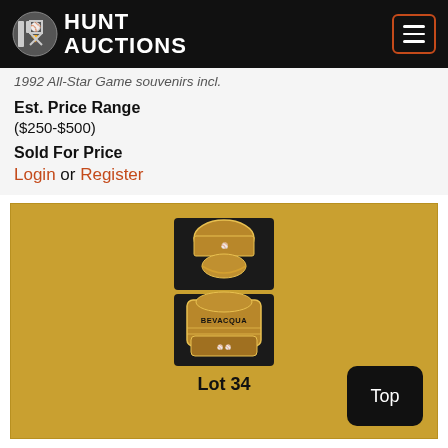Hunt Auctions
1992 All-Star Game souvenirs incl.
Est. Price Range
($250-$500)
Sold For Price
Login or Register
[Figure (photo): Two views of a championship/commemorative ring with 'BEVACQUA' engraved, shown top and bottom views on a gold/tan background. Caption: Lot 34]